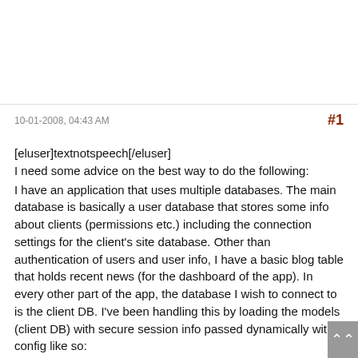10-01-2008, 04:43 AM   #1
[eluser]textnotspeech[/eluser]
I need some advice on the best way to do the following:

I have an application that uses multiple databases. The main database is basically a user database that stores some info about clients (permissions etc.) including the connection settings for the client's site database. Other than authentication of users and user info, I have a basic blog table that holds recent news (for the dashboard of the app). In every other part of the app, the database I wish to connect to is the client DB. I've been handling this by loading the models (client DB) with secure session info passed dynamically with config like so:
Code:
// Getting the specifics from session data